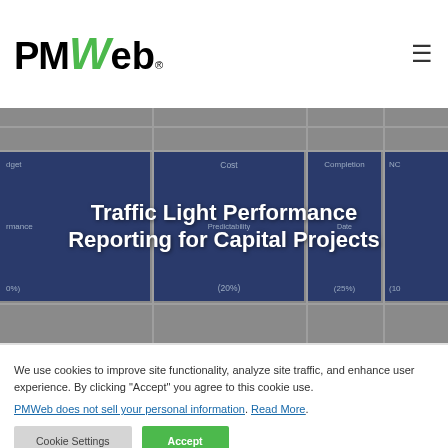PMWeb (logo) with hamburger menu
[Figure (screenshot): Hero banner showing a traffic light performance reporting grid with dark blue tiles labeled Cost, Completion, showing percentages (20%), (25%), (10%), overlaid with bold white title text]
Traffic Light Performance Reporting for Capital Projects
We use cookies to improve site functionality, analyze site traffic, and enhance user experience. By clicking "Accept" you agree to this cookie use.
PMWeb does not sell your personal information. Read More.